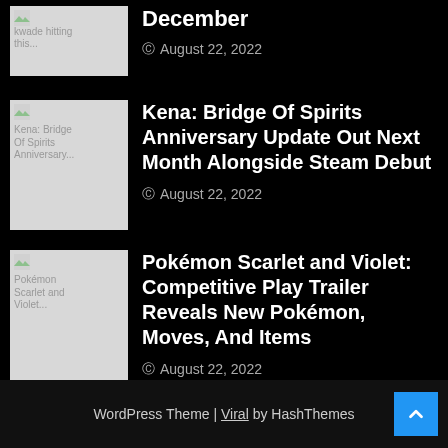December
August 22, 2022
Kena: Bridge Of Spirits Anniversary Update Out Next Month Alongside Steam Debut
August 22, 2022
Pokémon Scarlet and Violet: Competitive Play Trailer Reveals New Pokémon, Moves, And Items
August 22, 2022
WordPress Theme | Viral by HashThemes